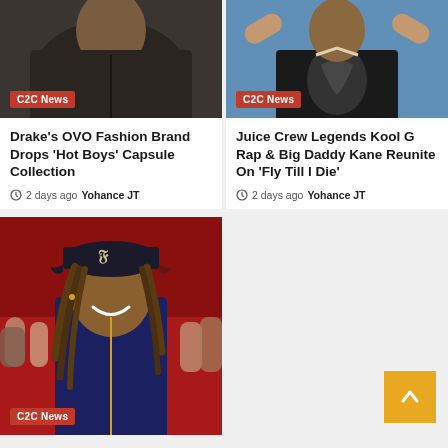[Figure (photo): Person in dark jacket, face partially visible, C2C News badge overlay]
Drake's OVO Fashion Brand Drops 'Hot Boys' Capsule Collection
2 days ago  Yohance JT
[Figure (photo): Person in dark graphic t-shirt, C2C News badge overlay]
Juice Crew Legends Kool G Rap & Big Daddy Kane Reunite On 'Fly Till I Die'
2 days ago  Yohance JT
[Figure (photo): Person wearing dark cap with gothic letter F, smiling, C2C News badge overlay]